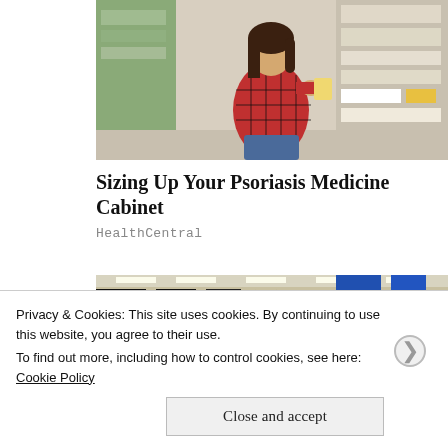[Figure (photo): Woman in a plaid shirt crouching in a pharmacy/store aisle, examining a product on the shelf]
Sizing Up Your Psoriasis Medicine Cabinet
HealthCentral
[Figure (photo): Wide-angle interior shot of a large retail store with shoppers browsing aisles under fluorescent lighting]
Privacy & Cookies: This site uses cookies. By continuing to use this website, you agree to their use.
To find out more, including how to control cookies, see here: Cookie Policy
Close and accept